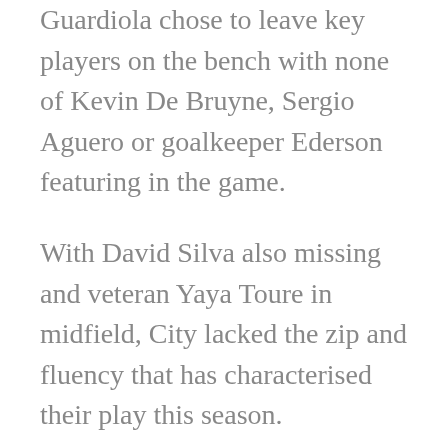Guardiola chose to leave key players on the bench with none of Kevin De Bruyne, Sergio Aguero or goalkeeper Ederson featuring in the game.
With David Silva also missing and veteran Yaya Toure in midfield, City lacked the zip and fluency that has characterised their play this season.
City's last home defeat came in December, 2016 against Chelsea in the Premier League and while this loss can be largely dismissed, due to the weakened side playing a game with little